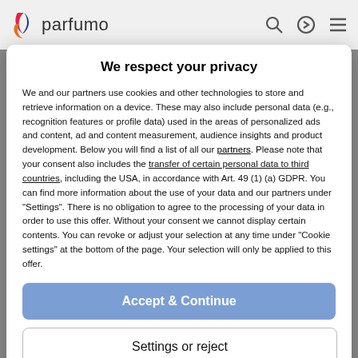[Figure (logo): Parfumo logo with colored leaf icon and text 'parfumo' in the navigation bar]
We respect your privacy
We and our partners use cookies and other technologies to store and retrieve information on a device. These may also include personal data (e.g., recognition features or profile data) used in the areas of personalized ads and content, ad and content measurement, audience insights and product development. Below you will find a list of all our partners. Please note that your consent also includes the transfer of certain personal data to third countries, including the USA, in accordance with Art. 49 (1) (a) GDPR. You can find more information about the use of your data and our partners under "Settings". There is no obligation to agree to the processing of your data in order to use this offer. Without your consent we cannot display certain contents. You can revoke or adjust your selection at any time under "Cookie settings" at the bottom of the page. Your selection will only be applied to this offer.
Accept & Continue
Settings or reject
Privacy Policy | About Us